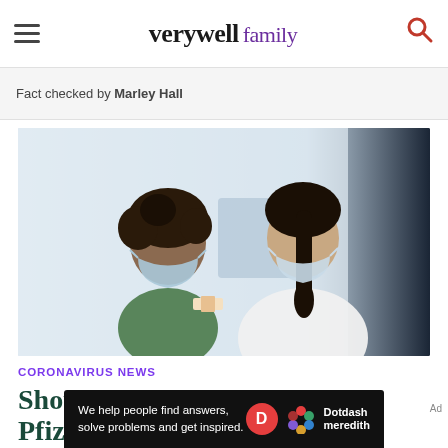verywell family
Fact checked by Marley Hall
[Figure (photo): A masked child getting a bandage applied to their arm by a masked healthcare provider in a clinical setting]
CORONAVIRUS NEWS
Should You Get Your Kids the Pfizer or Moderna Vaccine?
We help people find answers, solve problems and get inspired. Dotdash meredith